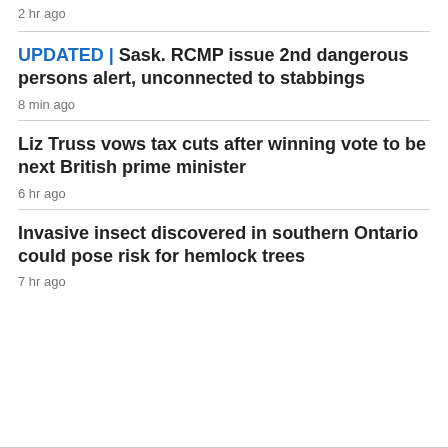2 hr ago
UPDATED | Sask. RCMP issue 2nd dangerous persons alert, unconnected to stabbings
8 min ago
Liz Truss vows tax cuts after winning vote to be next British prime minister
6 hr ago
Invasive insect discovered in southern Ontario could pose risk for hemlock trees
7 hr ago